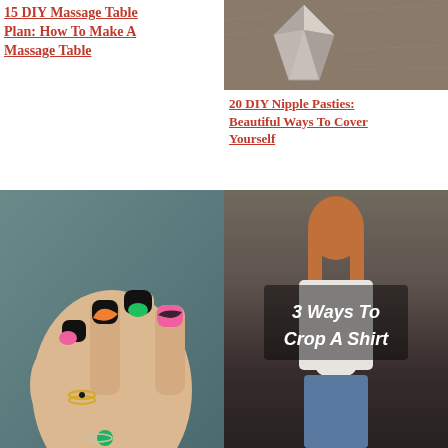15 DIY Massage Table Plan: How To Make A Massage Table
[Figure (photo): Close-up of a metallic/crystal object on fur background]
20 DIY Nipple Pasties: Beautiful Ways To Cover Yourself
[Figure (photo): Hand with colorful nail art - black, pink, orange, green swirl designs on nails with rings]
[Figure (photo): Young woman with red hair wearing a cropped white shirt and jeans with text overlay '3 Ways To Crop A Shirt']